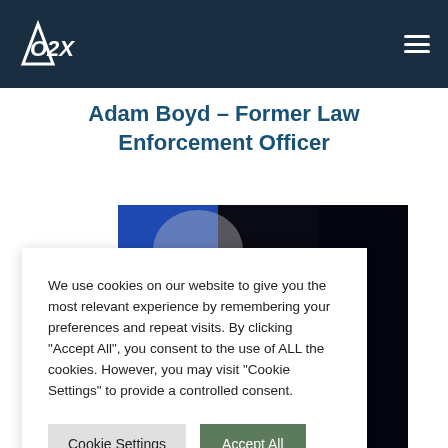O2X logo and navigation menu
Adam Boyd – Former Law Enforcement Officer
[Figure (photo): A dark outdoor nighttime photo showing a vehicle or military equipment scene with lights visible in the background and what appears to be a person in the lower portion.]
We use cookies on our website to give you the most relevant experience by remembering your preferences and repeat visits. By clicking "Accept All", you consent to the use of ALL the cookies. However, you may visit "Cookie Settings" to provide a controlled consent.